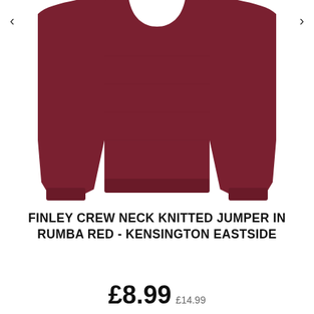[Figure (photo): A dark rumba red crew neck knitted jumper displayed flat, showing the body and both sleeves spread out, on a white background. Navigation arrows are visible on left and right sides.]
FINLEY CREW NECK KNITTED JUMPER IN RUMBA RED - KENSINGTON EASTSIDE
£8.99 £14.99